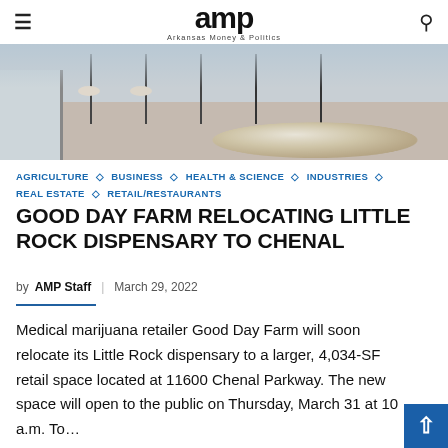amp Arkansas Money & Politics
[Figure (photo): Interior of a dispensary showing a round decorative rug on a concrete floor, bar stools, and a refrigerator unit on the left side.]
AGRICULTURE ◇ BUSINESS ◇ HEALTH & SCIENCE ◇ INDUSTRIES ◇ REAL ESTATE ◇ RETAIL/RESTAURANTS
GOOD DAY FARM RELOCATING LITTLE ROCK DISPENSARY TO CHENAL
by AMP Staff | March 29, 2022
Medical marijuana retailer Good Day Farm will soon relocate its Little Rock dispensary to a larger, 4,034-SF retail space located at 11600 Chenal Parkway. The new space will open to the public on Thursday, March 31 at 10 a.m. To…